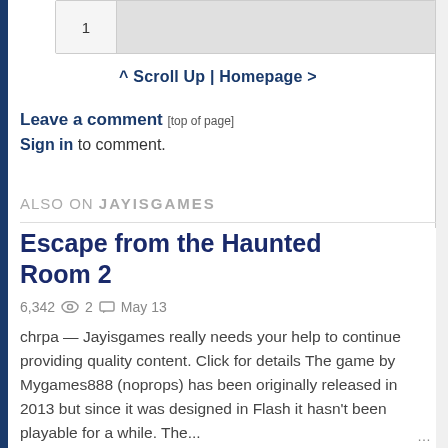| 1 |  |
| --- | --- |
^ Scroll Up | Homepage >
Leave a comment [top of page]
Sign in to comment.
ALSO ON JAYISGAMES
Escape from the Haunted Room 2
6,342  2  May 13
chrpa — Jayisgames really needs your help to continue providing quality content. Click for details The game by Mygames888 (noprops) has been originally released in 2013 but since it was designed in Flash it hasn't been playable for a while. The...